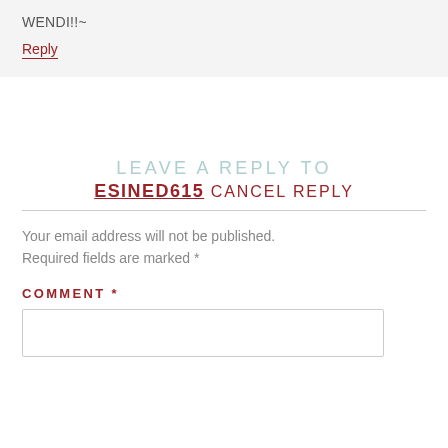WENDI!!~
Reply
LEAVE A REPLY TO ESINED615 CANCEL REPLY
Your email address will not be published. Required fields are marked *
COMMENT *